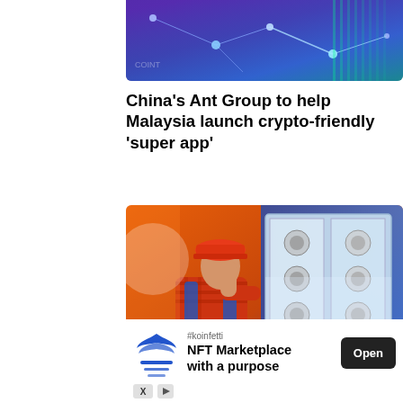[Figure (illustration): Colorful digital illustration with blockchain/crypto network graphic — glowing blue and purple with connected nodes on dark background]
China's Ant Group to help Malaysia launch crypto-friendly 'super app'
[Figure (illustration): Digital artwork showing a worker in red hard hat and blue overalls looking at an open server/mining rig cabinet filled with cooling fans, set against a dramatic orange/blue background]
[Figure (screenshot): Advertisement overlay: #koinfetti NFT Marketplace with a purpose — Open button]